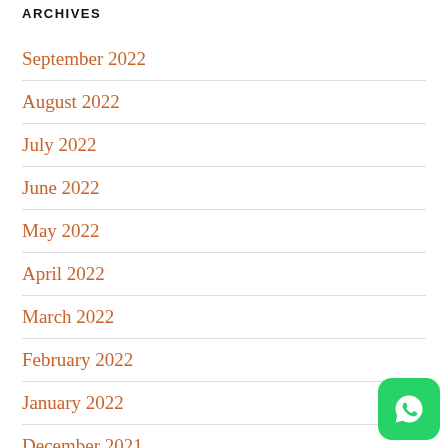ARCHIVES
September 2022
August 2022
July 2022
June 2022
May 2022
April 2022
March 2022
February 2022
January 2022
December 2021
[Figure (logo): WhatsApp icon button - green rounded square with white phone/chat icon]